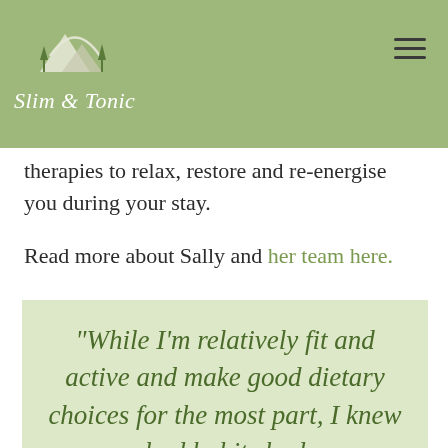[Figure (logo): Slim & Tonic logo with mountain/tree icon and italic script text on green background]
therapies to relax, restore and re-energise you during your stay.
Read more about Sally and her team here.
“While I’m relatively fit and active and make good dietary choices for the most part, I knew bad habits had